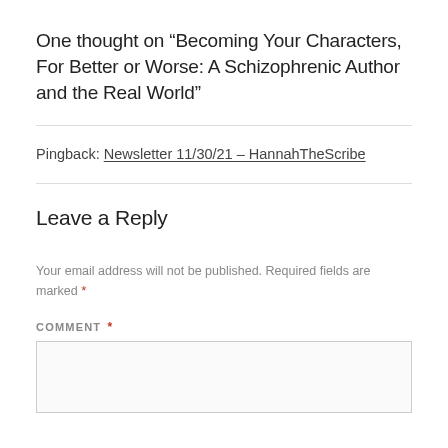One thought on “Becoming Your Characters, For Better or Worse: A Schizophrenic Author and the Real World”
Pingback: Newsletter 11/30/21 – HannahTheScribe
Leave a Reply
Your email address will not be published. Required fields are marked *
COMMENT *